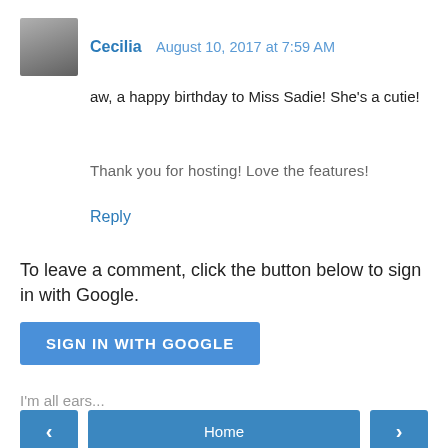Cecilia  August 10, 2017 at 7:59 AM
aw, a happy birthday to Miss Sadie! She's a cutie!
Thank you for hosting! Love the features!
Reply
To leave a comment, click the button below to sign in with Google.
SIGN IN WITH GOOGLE
I'm all ears...
Home
View web version
Powered by Blogger.